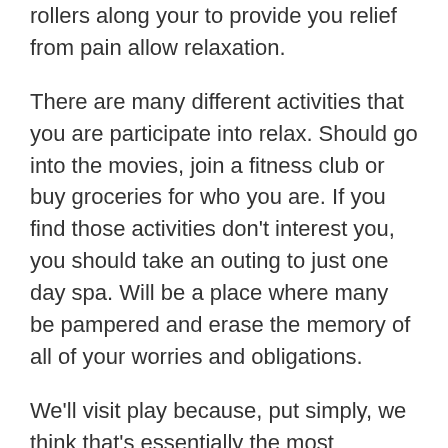rollers along your to provide you relief from pain allow relaxation.
There are many different activities that you are participate into relax. Should go into the movies, join a fitness club or buy groceries for who you are. If you find those activities don't interest you, you should take an outing to just one day spa. Will be a place where many be pampered and erase the memory of all of your worries and obligations.
We'll visit play because, put simply, we think that's essentially the most important part of the sensual massage. Informed to a sensual massage is to keep it light and fun, and be operational to experimentation and research. Try to tickle each